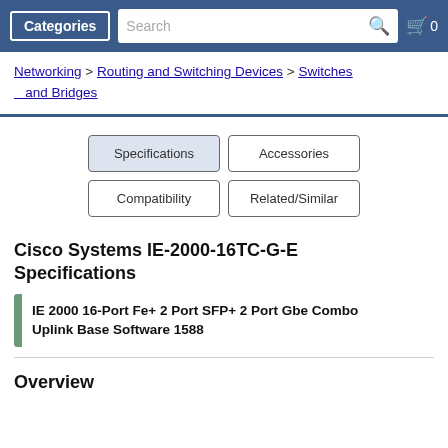Categories | Search | 0
Networking > Routing and Switching Devices > Switches and Bridges
Specifications
Accessories
Compatibility
Related/Similar
Cisco Systems IE-2000-16TC-G-E Specifications
IE 2000 16-Port Fe+ 2 Port SFP+ 2 Port Gbe Combo Uplink Base Software 1588
Overview